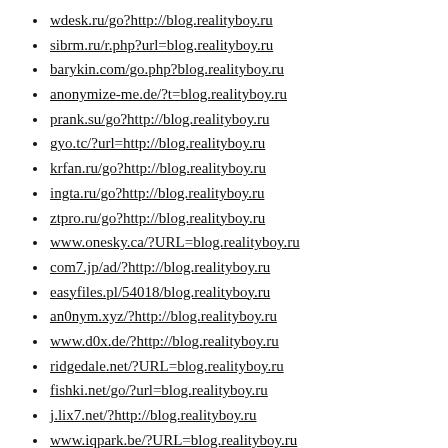wdesk.ru/go?http://blog.realityboy.ru
sibrm.ru/r.php?url=blog.realityboy.ru
barykin.com/go.php?blog.realityboy.ru
anonymize-me.de/?t=blog.realityboy.ru
prank.su/go?http://blog.realityboy.ru
gyo.tc/?url=http://blog.realityboy.ru
krfan.ru/go?http://blog.realityboy.ru
ingta.ru/go?http://blog.realityboy.ru
ztpro.ru/go?http://blog.realityboy.ru
www.onesky.ca/?URL=blog.realityboy.ru
com7.jp/ad/?http://blog.realityboy.ru
easyfiles.pl/54018/blog.realityboy.ru
an0nym.xyz/?http://blog.realityboy.ru
www.d0x.de/?http://blog.realityboy.ru
ridgedale.net/?URL=blog.realityboy.ru
fishki.net/go/?url=blog.realityboy.ru
j.lix7.net/?http://blog.realityboy.ru
www.iqpark.be/?URL=blog.realityboy.ru
justmj.ru/go?http://blog.realityboy.ru